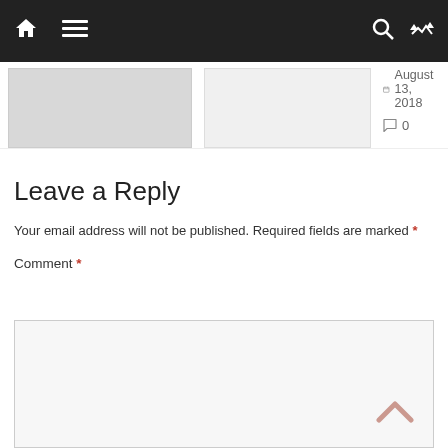Navigation bar with home, menu, search and shuffle icons
August 13, 2018   0
Leave a Reply
Your email address will not be published. Required fields are marked *
Comment *